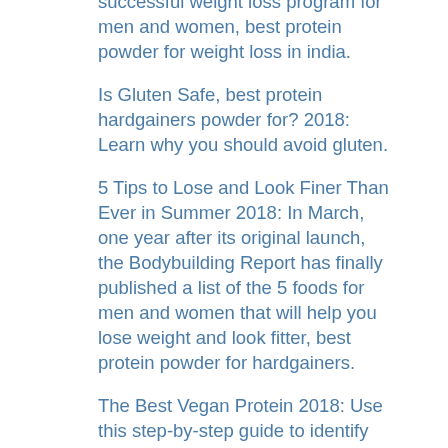successful weight loss program for men and women, best protein powder for weight loss in india.
Is Gluten Safe, best protein hardgainers powder for? 2018: Learn why you should avoid gluten.
5 Tips to Lose and Look Finer Than Ever in Summer 2018: In March, one year after its original launch, the Bodybuilding Report has finally published a list of the 5 foods for men and women that will help you lose weight and look fitter, best protein powder for hardgainers.
The Best Vegan Protein 2018: Use this step-by-step guide to identify the best vegan protein powders to use in your weight loss or weight gain efforts.
The Complete Guide to Eating Fat at Any